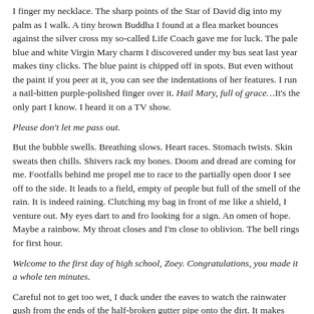I finger my necklace. The sharp points of the Star of David dig into my palm as I walk. A tiny brown Buddha I found at a flea market bounces against the silver cross my so-called Life Coach gave me for luck. The pale blue and white Virgin Mary charm I discovered under my bus seat last year makes tiny clicks. The blue paint is chipped off in spots. But even without the paint if you peer at it, you can see the indentations of her features. I run a nail-bitten purple-polished finger over it. Hail Mary, full of grace…It's the only part I know. I heard it on a TV show.
Please don't let me pass out.
But the bubble swells. Breathing slows. Heart races. Stomach twists. Skin sweats then chills. Shivers rack my bones. Doom and dread are coming for me. Footfalls behind me propel me to race to the partially open door I see off to the side. It leads to a field, empty of people but full of the smell of the rain. It is indeed raining. Clutching my bag in front of me like a shield, I venture out. My eyes dart to and fro looking for a sign. An omen of hope. Maybe a rainbow. My throat closes and I'm close to oblivion. The bell rings for first hour.
Welcome to the first day of high school, Zoey. Congratulations, you made it a whole ten minutes.
Careful not to get too wet, I duck under the eaves to watch the rainwater gush from the ends of the half-broken gutter pipe onto the dirt. It makes muddy puddles at my feet. Glass panoramic walls afford me a view into the school. But if I can see in, my classmates can see out, at me.
I scoot around a corner and jump when I encounter a boy who smiles and it's the smile of a thousand white-hot stars all packed into one. The kind of smile I wish I could keep in my pocket and bring out to brighten the grayness of the